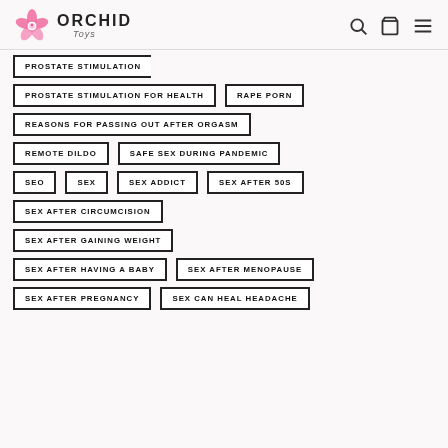ORCHID Toys
PROSTATE STIMULATION
PROSTATE STIMULATION FOR HEALTH
RAPE PORN
REASONS FOR PASSING OUT AFTER ORGASM
REMOTE DILDO
SAFE SEX DURING PANDEMIC
SEO
SEX
SEX ADDICT
SEX AFTER 50S
SEX AFTER CIRCUMCISION
SEX AFTER GAINING WEIGHT
SEX AFTER HAVING A BABY
SEX AFTER MENOPAUSE
SEX AFTER PREGNANCY
SEX CAN HEAL HEADACHE